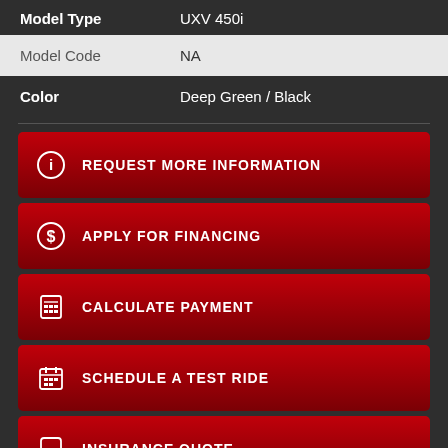| Field | Value |
| --- | --- |
| Model Type | UXV 450i |
| Model Code | NA |
| Color | Deep Green / Black |
REQUEST MORE INFORMATION
APPLY FOR FINANCING
CALCULATE PAYMENT
SCHEDULE A TEST RIDE
INSURANCE QUOTE